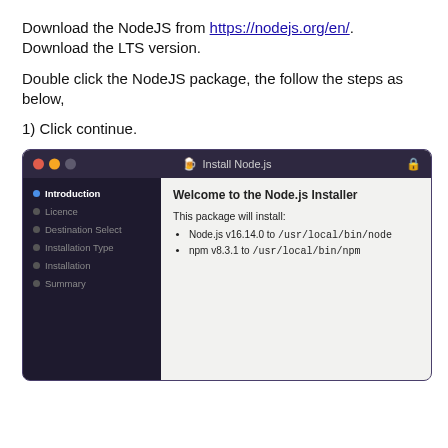Download the NodeJS from https://nodejs.org/en/. Download the LTS version.
Double click the NodeJS package, the follow the steps as below,
1) Click continue.
[Figure (screenshot): macOS Node.js installer window showing Introduction step. Left sidebar lists: Introduction (active, blue dot), Licence, Destination Select, Installation Type, Installation, Summary. Main panel shows 'Welcome to the Node.js Installer' heading and 'This package will install: Node.js v16.14.0 to /usr/local/bin/node, npm v8.3.1 to /usr/local/bin/npm']